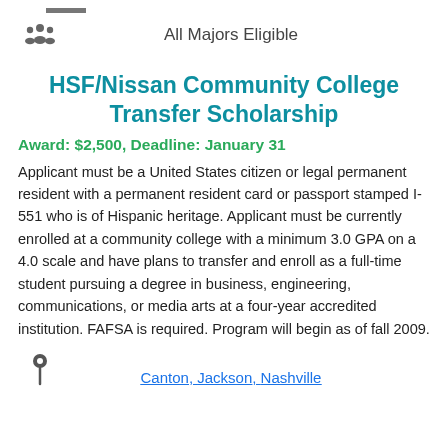All Majors Eligible
HSF/Nissan Community College Transfer Scholarship
Award: $2,500, Deadline: January 31
Applicant must be a United States citizen or legal permanent resident with a permanent resident card or passport stamped I-551 who is of Hispanic heritage. Applicant must be currently enrolled at a community college with a minimum 3.0 GPA on a 4.0 scale and have plans to transfer and enroll as a full-time student pursuing a degree in business, engineering, communications, or media arts at a four-year accredited institution. FAFSA is required. Program will begin as of fall 2009.
Canton, Jackson, Nashville